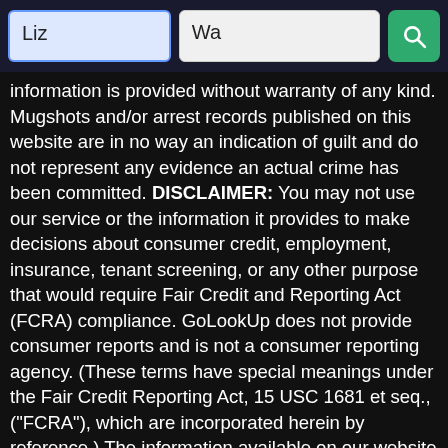[Figure (screenshot): Search bar UI with two text input fields labeled 'Liz' and 'Wa' and a green search button with magnifying glass icon]
information is provided without warranty of any kind. Mugshots and/or arrest records published on this website are in no way an indication of guilt and do not represent any evidence an actual crime has been committed. DISCLAIMER: You may not use our service or the information it provides to make decisions about consumer credit, employment, insurance, tenant screening, or any other purpose that would require Fair Credit and Reporting Act (FCRA) compliance. GoLookUp does not provide consumer reports and is not a consumer reporting agency. (These terms have special meanings under the Fair Credit Reporting Act, 15 USC 1681 et seq., ("FCRA"), which are incorporated herein by reference.) The information available on our website may not be 100% accurate, complete, or up to date, so do not use it as a substitute for your own due diligence, especially if you have concerns about a person's criminal history. GoLookUp does not make any representation or warranty about the accuracy of the information available through our website or about the character or integrity of the person about whom you inquire. For more information, please review GoLookup Terms of Use.